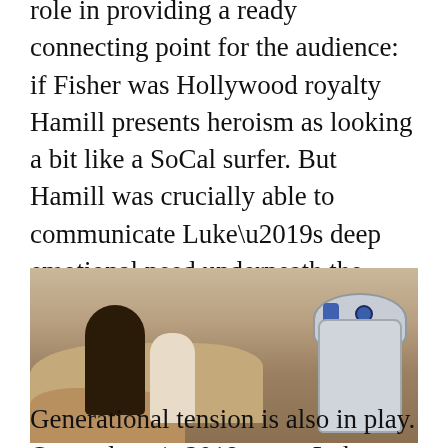role in providing a ready connecting point for the audience: if Fisher was Hollywood royalty Hamill presents heroism as looking a bit like a SoCal surfer. But Hamill was crucially able to communicate Luke’s deep emotional need underneath the dreamy, frustrated optimism and youthful charm duelling with his early callow streak.
[Figure (photo): A still from Star Wars showing a robed figure (Obi-Wan Kenobi) and Luke Skywalker in a rocky desert landscape with R2-D2 on the right side]
Generational tension is also in play. Owen doesn’t want Luke heading off